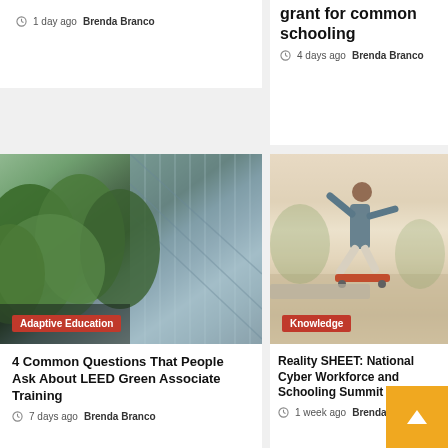1 day ago  Brenda Branco
grant for common schooling
4 days ago  Brenda Branco
[Figure (photo): Green trees and modern glass building viewed from below]
Adaptive Education
4 Common Questions That People Ask About LEED Green Associate Training
7 days ago  Brenda Branco
[Figure (photo): Person skateboarding outdoors, performing a trick]
Knowledge
Reality SHEET: National Cyber Workforce and Schooling Summit
1 week ago  Brenda B